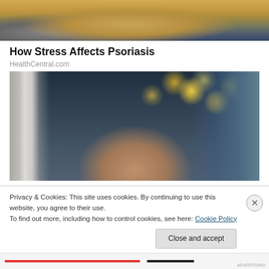[Figure (photo): Partial top image showing a person in yellow/mustard clothing against a blurred background, cropped at the top of the page.]
How Stress Affects Psoriasis
HealthCentral.com
[Figure (photo): A woman with long brown hair looking at products on a grocery store shelf. Store aisle with bokeh lights in the background, price tag visible.]
Privacy & Cookies: This site uses cookies. By continuing to use this website, you agree to their use.
To find out more, including how to control cookies, see here: Cookie Policy